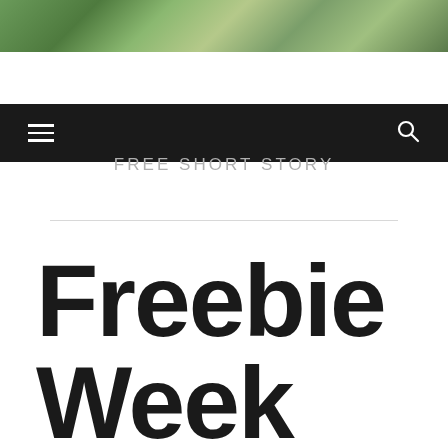[Figure (photo): Green foliage/lily pad background image at top of page]
Navigation bar with hamburger menu and search icon
FREE SHORT STORY
Freebie Week